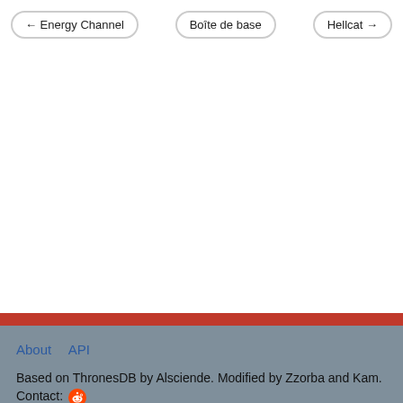← Energy Channel   Boîte de base   Hellcat →
About   API
Based on ThronesDB by Alsciende. Modified by Zzorba and Kam. Contact: [reddit icon]
Please post bug reports and feature requests on GitHub
I set up a Patreon for those who want to help support the site.
The information presented on this site about Marvel Champions: The Card Game, both literal and graphical, is copyrighted by Fantasy Flight Games. This website is not produced, endorsed, supported, or affiliated with Fantasy Flight Games.